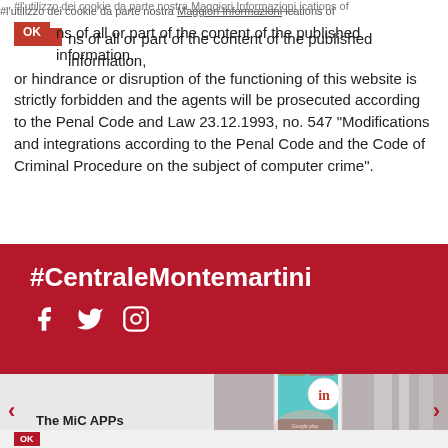#l'utilizzo dei cookie da parte nostra Maggiori Informazioni cations of cancellations of all or part of the content of the published information, or hindrance or disruption of the functioning of this website is strictly forbidden and the agents will be prosecuted according to the Penal Code and Law 23.12.1993, no. 547 "Modifications and integrations according to the Penal Code and the Code of Criminal Procedure on the subject of computer crime".
#CentraleMontemartini
[Figure (infographic): Social media icons: Facebook, Twitter, Instagram in white on dark red background]
[Figure (photo): Hand holding a smartphone showing the MiC APP interface with multiple photo tiles and the 'in' museum app logo. Google Play and App Store download badges visible.]
The MiC APPs